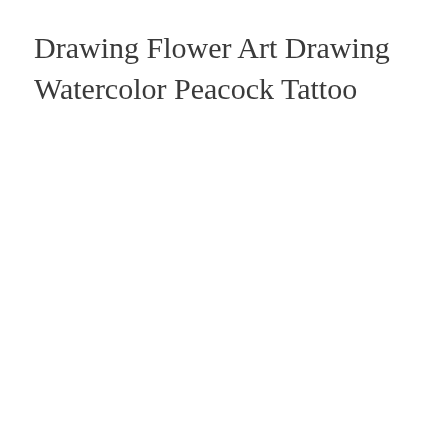Drawing Flower Art Drawing Watercolor Peacock Tattoo